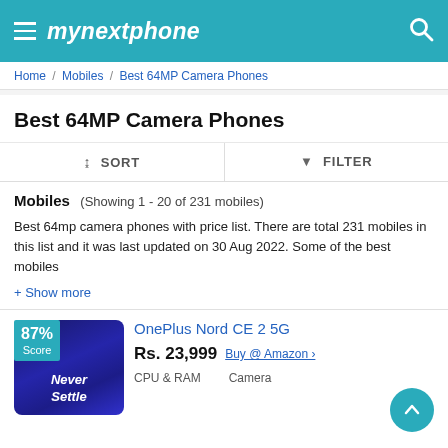mynextphone
Home / Mobiles / Best 64MP Camera Phones
Best 64MP Camera Phones
↨= SORT   ▼ FILTER
Mobiles   (Showing 1 - 20 of 231 mobiles)
Best 64mp camera phones with price list. There are total 231 mobiles in this list and it was last updated on 30 Aug 2022. Some of the best mobiles
+ Show more
[Figure (photo): OnePlus Nord CE 2 5G phone image with 87% Score badge and 'Never Settle' text on screen]
OnePlus Nord CE 2 5G
Rs. 23,999   Buy @ Amazon ›
CPU & RAM   Camera